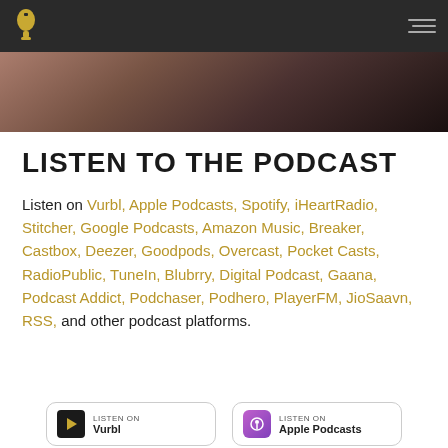[Figure (photo): Partial photo of a person in a dark top, cropped to show shoulders/neck area, dark background strip]
LISTEN TO THE PODCAST
Listen on Vurbl, Apple Podcasts, Spotify, iHeartRadio, Stitcher, Google Podcasts, Amazon Music, Breaker, Castbox, Deezer, Goodpods, Overcast, Pocket Casts, RadioPublic, TuneIn, Blubrry, Digital Podcast, Gaana, Podcast Addict, Podchaser, Podhero, PlayerFM, JioSaavn, RSS, and other podcast platforms.
[Figure (logo): Two podcast platform badges: a Vurbl listen badge and an Apple Podcasts listen badge]